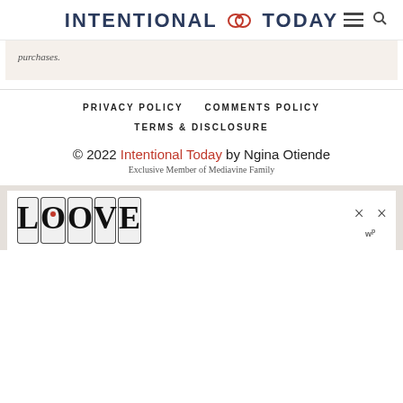INTENTIONAL TODAY
purchases.
PRIVACY POLICY   COMMENTS POLICY   TERMS & DISCLOSURE
© 2022 Intentional Today by Ngina Otiende
Exclusive Member of Mediavine Family
[Figure (logo): LOVE decorative text logo in black and white illustrative style with a red heart detail]